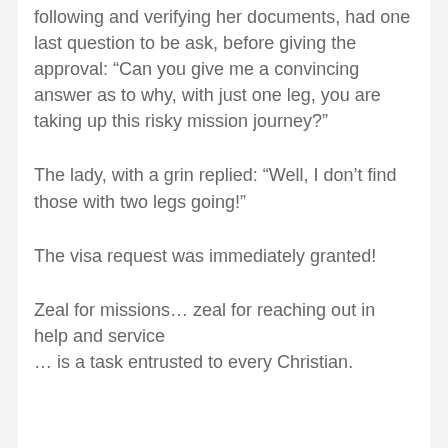following and verifying her documents, had one last question to be ask, before giving the approval: “Can you give me a convincing answer as to why, with just one leg, you are taking up this risky mission journey?”
The lady, with a grin replied: “Well, I don’t find those with two legs going!”
The visa request was immediately granted!
Zeal for missions… zeal for reaching out in help and service
… is a task entrusted to every Christian.